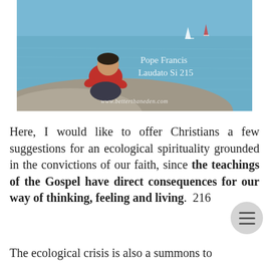[Figure (photo): A child in a red sweatshirt sits on a rocky shore looking out at calm blue water with small sailboats in the distance. Overlaid cursive text reads 'Pope Francis / Laudato Si 215' and watermark 'www.betterthaneden.com'.]
Here, I would like to offer Christians a few suggestions for an ecological spirituality grounded in the convictions of our faith, since the teachings of the Gospel have direct consequences for our way of thinking, feeling and living.  216
The ecological crisis is also a summons to